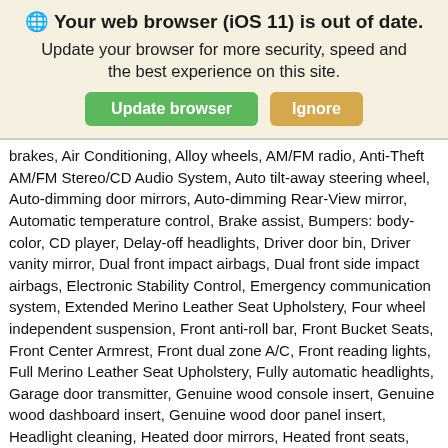🌐 Your web browser (iOS 11) is out of date.
Update your browser for more security, speed and the best experience on this site.
brakes, Air Conditioning, Alloy wheels, AM/FM radio, Anti-Theft AM/FM Stereo/CD Audio System, Auto tilt-away steering wheel, Auto-dimming door mirrors, Auto-dimming Rear-View mirror, Automatic temperature control, Brake assist, Bumpers: body-color, CD player, Delay-off headlights, Driver door bin, Driver vanity mirror, Dual front impact airbags, Dual front side impact airbags, Electronic Stability Control, Emergency communication system, Extended Merino Leather Seat Upholstery, Four wheel independent suspension, Front anti-roll bar, Front Bucket Seats, Front Center Armrest, Front dual zone A/C, Front reading lights, Full Merino Leather Seat Upholstery, Fully automatic headlights, Garage door transmitter, Genuine wood console insert, Genuine wood dashboard insert, Genuine wood door panel insert, Headlight cleaning, Heated door mirrors, Heated front seats, Heated Front Sport Bucket Seats, High-Intensity Discharge Headlights, Illuminated entry, Knee airbag, Leather Shift Knob, Leather steering wheel, Low tire pressure warning, Memory seat, MP3 decoder, Navigation System, Occupant